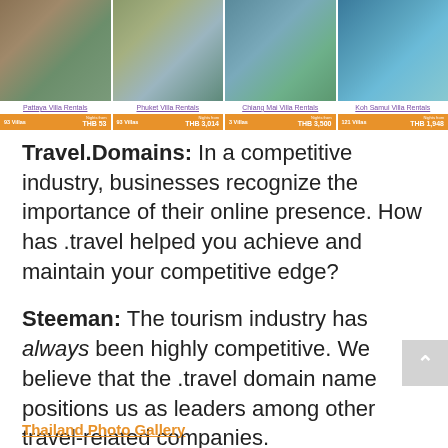[Figure (screenshot): A villa rental website banner showing four villa destinations in Thailand in a grid layout. Each cell shows a property photo, the destination name as a purple hyperlink, and an orange bar with villa count and nightly price. Pattaya Villa Rentals: 93 Villas, Nights from THB 53. Phuket Villa Rentals: 93 Villas, Nights from THB 3,014. Chiang Mai Villa Rentals: 3 Villas, Nights from THB 3,500. Koh Samui Villa Rentals: 121 Villas, Nights from THB 1,948.]
Travel.Domains: In a competitive industry, businesses recognize the importance of their online presence. How has .travel helped you achieve and maintain your competitive edge?
Steeman: The tourism industry has always been highly competitive. We believe that the .travel domain name positions us as leaders among other travel-related companies.
Thailand Photo Gallery